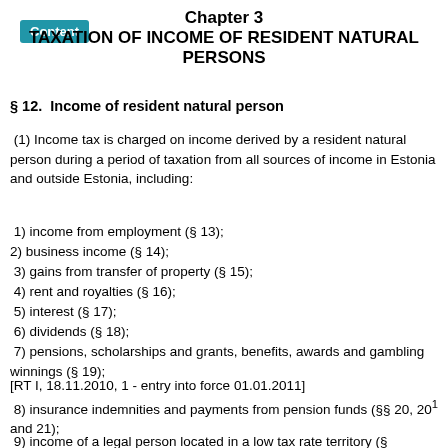Chapter 3
TAXATION OF INCOME OF RESIDENT NATURAL PERSONS
§ 12.  Income of resident natural person
(1) Income tax is charged on income derived by a resident natural person during a period of taxation from all sources of income in Estonia and outside Estonia, including:
1) income from employment (§ 13);
2) business income (§ 14);
3) gains from transfer of property (§ 15);
4) rent and royalties (§ 16);
5) interest (§ 17);
6) dividends (§ 18);
7) pensions, scholarships and grants, benefits, awards and gambling winnings (§ 19);
[RT I, 18.11.2010, 1 - entry into force 01.01.2011]
8) insurance indemnities and payments from pension funds (§§ 20, 20¹ and 21);
9) income of a legal person located in a low tax rate territory (§